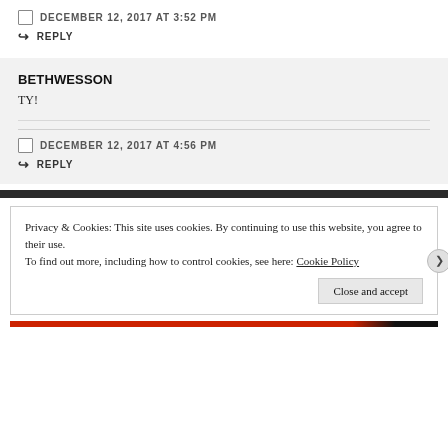DECEMBER 12, 2017 AT 3:52 PM
REPLY
BETHWESSON
TY!
DECEMBER 12, 2017 AT 4:56 PM
REPLY
Privacy & Cookies: This site uses cookies. By continuing to use this website, you agree to their use.
To find out more, including how to control cookies, see here: Cookie Policy
Close and accept